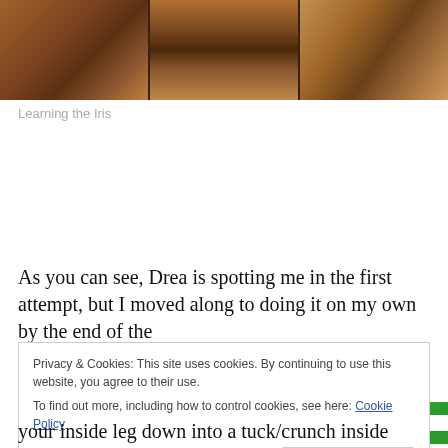[Figure (photo): Three side-by-side photos showing a person performing a pole dance move called the Iris, on a wooden floor background]
Learning the Iris
[Figure (other): Advertisements banner with green background]
As you can see, Drea is spotting me in the first attempt, but I moved along to doing it on my own by the end of the
Privacy & Cookies: This site uses cookies. By continuing to use this website, you agree to their use.
To find out more, including how to control cookies, see here: Cookie Policy
your inside leg down into a tuck/crunch inside your upper